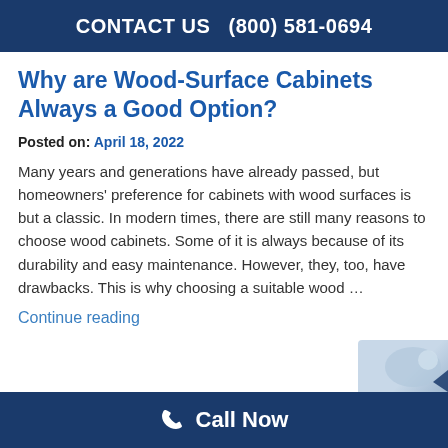CONTACT US   (800) 581-0694
Why are Wood-Surface Cabinets Always a Good Option?
Posted on: April 18, 2022
Many years and generations have already passed, but homeowners' preference for cabinets with wood surfaces is but a classic. In modern times, there are still many reasons to choose wood cabinets. Some of it is always because of its durability and easy maintenance. However, they, too, have drawbacks. This is why choosing a suitable wood …
Continue reading
Call Now